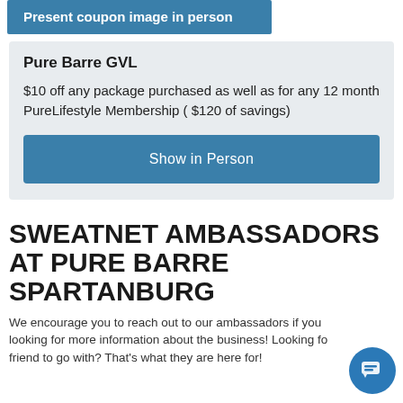Present coupon image in person
Pure Barre GVL
$10 off any package purchased as well as for any 12 month PureLifestyle Membership ( $120 of savings)
Show in Person
SWEATNET AMBASSADORS AT PURE BARRE SPARTANBURG
We encourage you to reach out to our ambassadors if you looking for more information about the business! Looking for friend to go with? That's what they are here for!